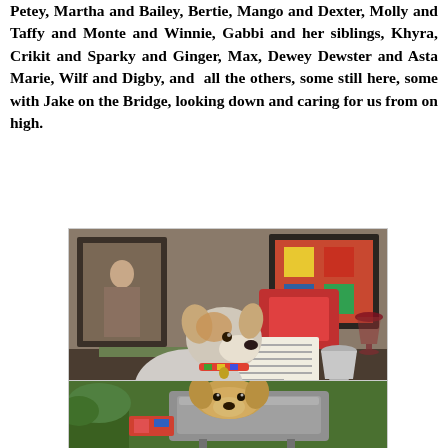Petey, Martha and Bailey, Bertie, Mango and Dexter, Molly and Taffy and Monte and Winnie, Gabbi and her siblings, Khyra, Crikit and Sparky and Ginger, Max, Dewey Dewster and Asta Marie, Wilf and Digby, and all the others, some still here, some with Jake on the Bridge, looking down and caring for us from on high.
[Figure (photo): A wire fox terrier dog sitting at a table set for a Passover seder, with papers/books open in front of it, a silver goblet (Elijah's cup) on the right, a glass of wine, decorative pillows and framed artwork in the background.]
Passover seder with Elijah's cup on the right.
[Figure (photo): A golden/tan colored terrier dog near a grill/barbecue outdoors, with colorful items visible.]